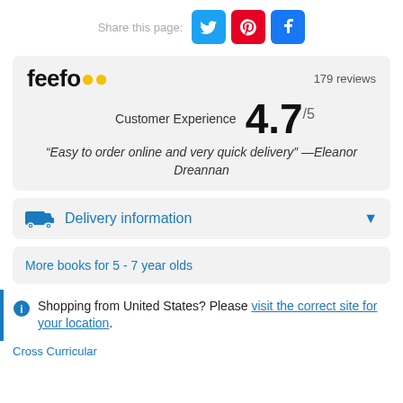Share this page:
[Figure (infographic): Social share icons: Twitter (blue bird), Pinterest (red P), Facebook (blue f)]
[Figure (infographic): Feefo review widget showing 4.7/5 Customer Experience from 179 reviews with quote: Easy to order online and very quick delivery — Eleanor Dreannan]
Delivery information
More books for 5 - 7 year olds
Shopping from United States? Please visit the correct site for your location.